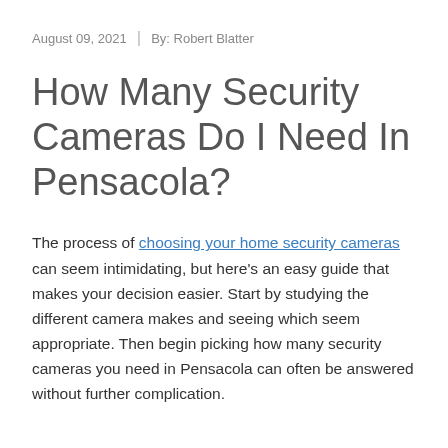August 09, 2021  |  By: Robert Blatter
How Many Security Cameras Do I Need In Pensacola?
The process of choosing your home security cameras can seem intimidating, but here's an easy guide that makes your decision easier. Start by studying the different camera makes and seeing which seem appropriate. Then begin picking how many security cameras you need in Pensacola can often be answered without further complication.